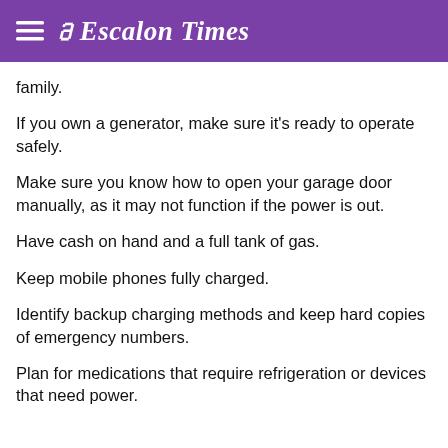≡ Escalon Times
family.
If you own a generator, make sure it's ready to operate safely.
Make sure you know how to open your garage door manually, as it may not function if the power is out.
Have cash on hand and a full tank of gas.
Keep mobile phones fully charged.
Identify backup charging methods and keep hard copies of emergency numbers.
Plan for medications that require refrigeration or devices that need power.